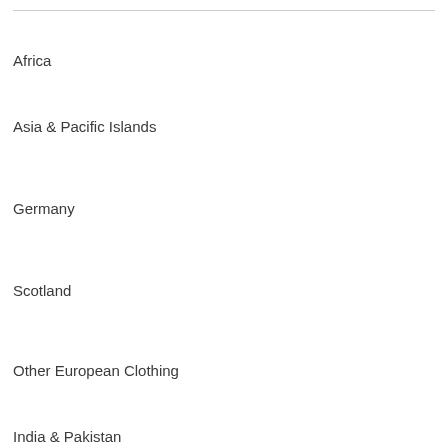Africa
Asia & Pacific Islands
Germany
Scotland
Other European Clothing
India & Pakistan